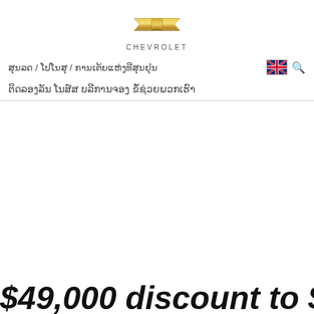[Figure (logo): Chevrolet gold bowtie logo with CHEVROLET text below]
ສຸນລດ / ໂປໂນສຸ / ການເຕ້ຍແຫ່ງທີສຸນຢຸນ
ຕິດລອງລັນ ໂນສ໌ສ ບລີການຈອງ ຂໍ້ຊ່ວຍພວກເຮົາ
$49,000 discount to $47,500 for